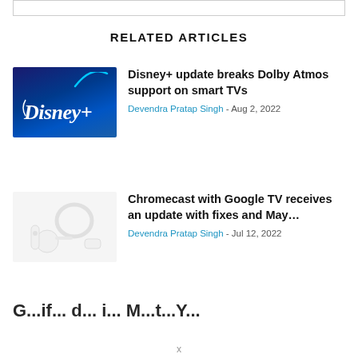RELATED ARTICLES
[Figure (screenshot): Disney+ logo on dark blue gradient background]
Disney+ update breaks Dolby Atmos support on smart TVs
Devendra Pratap Singh - Aug 2, 2022
[Figure (photo): Chromecast with Google TV device and accessories on white background]
Chromecast with Google TV receives an update with fixes and May…
Devendra Pratap Singh - Jul 12, 2022
G...if... d... i... M... t... Y...